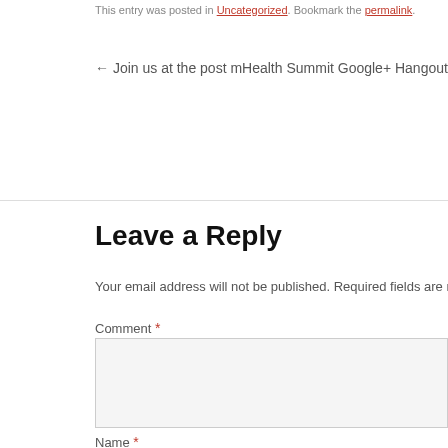This entry was posted in Uncategorized. Bookmark the permalink.
← Join us at the post mHealth Summit Google+ Hangout    BNetTV spe
Leave a Reply
Your email address will not be published. Required fields are marked *
Comment *
Name *